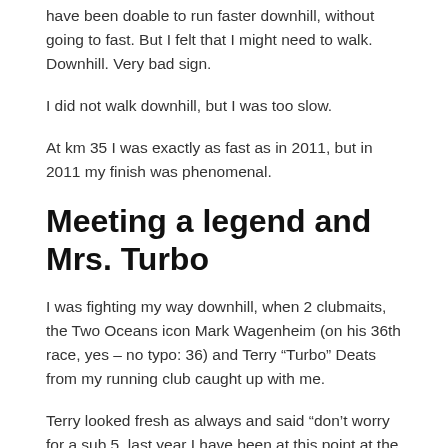have been doable to run faster downhill, without going to fast. But I felt that I might need to walk. Downhill. Very bad sign.
I did not walk downhill, but I was too slow.
At km 35 I was exactly as fast as in 2011, but in 2011 my finish was phenomenal.
Meeting a legend and Mrs. Turbo
I was fighting my way downhill, when 2 clubmaits, the Two Oceans icon Mark Wagenheim (on his 36th race, yes – no typo: 36) and Terry “Turbo” Deats from my running club caught up with me.
Terry looked fresh as always and said “don’t worry for a sub 5, last year I have been at this point at the same time and managed to finish sub 5. Well, I had very